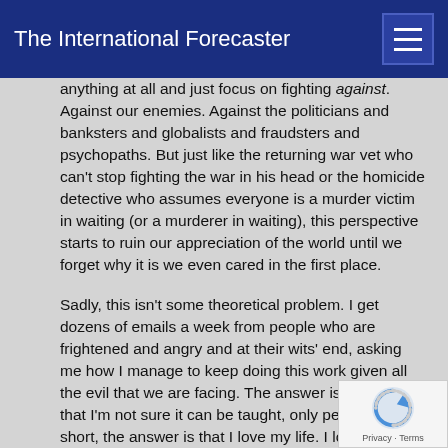The International Forecaster
anything at all and just focus on fighting against. Against our enemies. Against the politicians and banksters and globalists and fraudsters and psychopaths. But just like the returning war vet who can't stop fighting the war in his head or the homicide detective who assumes everyone is a murder victim in waiting (or a murderer in waiting), this perspective starts to ruin our appreciation of the world until we forget why it is we even cared in the first place.
Sadly, this isn't some theoretical problem. I get dozens of emails a week from people who are frightened and angry and at their wits' end, asking me how I manage to keep doing this work given all the evil that we are facing. The answer is so simple that I'm not sure it can be taught, only perceived. In short, the answer is that I love my life. I love my family and my friends and watching clouds roll by on a lazy summer afternoon and reading a good book and hearing the sound of my son's laughter and, yes, hearing my daughter's cry. The cry of a healthy